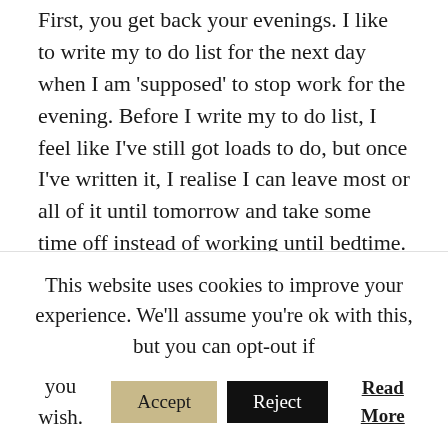First, you get back your evenings. I like to write my to do list for the next day when I am 'supposed' to stop work for the evening. Before I write my to do list, I feel like I've still got loads to do, but once I've written it, I realise I can leave most or all of it until tomorrow and take some time off instead of working until bedtime. Taking quality time off is an underrated but highly effective productivity technique!

And for the same reason, it means I sleep better – knowing tomorrow is planned and I don't have
This website uses cookies to improve your experience. We'll assume you're ok with this, but you can opt-out if you wish. [Accept] [Reject] [Read More]